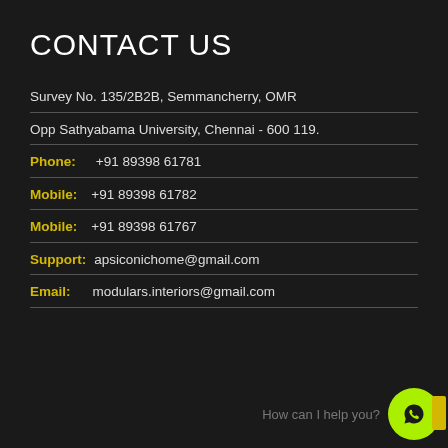CONTACT US
Survey No. 135/2B2B, Semmancherry, OMR
Opp Sathyabama University, Chennai - 600 119.
Phone:   +91 89398 61781
Mobile:  +91 89398 61782
Mobile:  +91 89398 61767
Support: apsiconichome@gmail.com
Email:   modulars.interiors@gmail.com
How can I help you?
[Figure (logo): WhatsApp logo button in lime green circle with yellow tab]